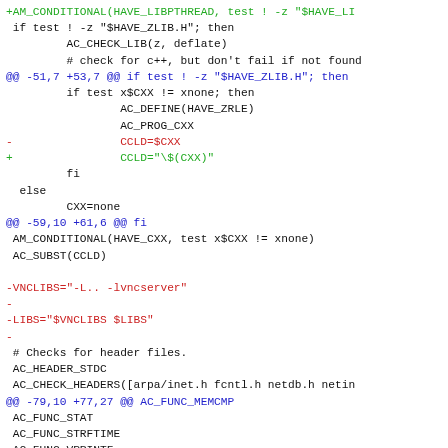Diff/patch code block showing changes to an autoconf configure script